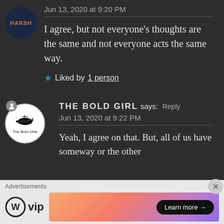Jun 13, 2020 at 9:20 PM
I agree, but not everyone's thoughts are the same and not everyone acts the same way.
★ Liked by 1 person
THE BOLD GIRL says: Reply
Jun 13, 2020 at 9:22 PM
Yeah, I agree on that. But, all of us have someway or the other
Advertisements
WordPress VIP — Learn more →